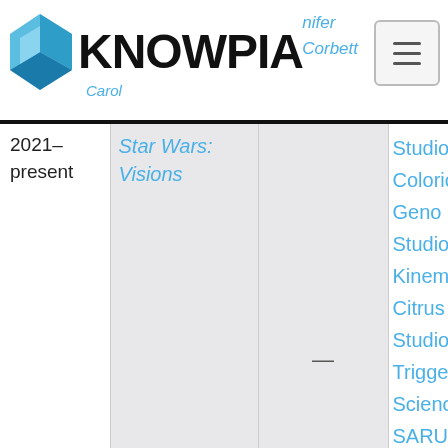KNOWPIA
| Year | Title | Role | Studio |
| --- | --- | --- | --- |
| 2021–present | Star Wars: Visions | — | Studio Colorido
Geno Studio
Kinema Citrus
Studio Trigger
Science SARU
Production I.G. |
| 2022 | Tales of the... |  |  |